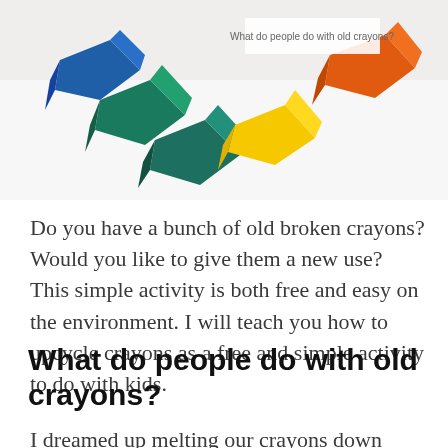[Figure (photo): Photo of chunky crayon pieces in various colors (blue, teal/green, yellow, orange, white) arranged on a white surface. A white overlay label reads 'What do people do with old crayons?']
Do you have a bunch of old broken crayons? Would you like to give them a new use? This simple activity is both free and easy on the environment. I will teach you how to upcycle crayons as a free and simple activity to do with kids.
What do people do with old crayons?
I dreamed up melting our crayons down